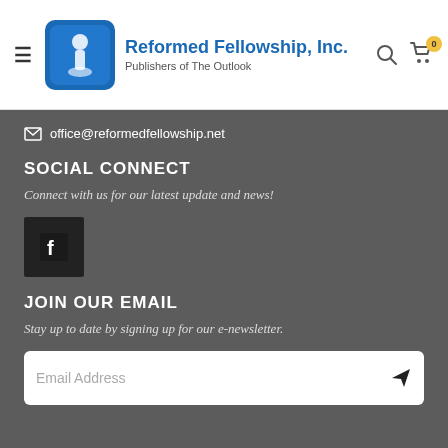Reformed Fellowship, Inc. — Publishers of The Outlook
office@reformedfellowship.net
SOCIAL CONNECT
Connect with us for our latest update and news!
[Figure (logo): Facebook icon square button]
JOIN OUR EMAIL
Stay up to date by signing up for our e-newsletter.
Email Address (input field with send button)